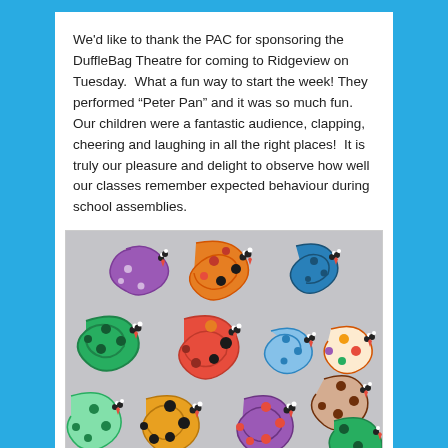We'd like to thank the PAC for sponsoring the DuffleBag Theatre for coming to Ridgeview on Tuesday.  What a fun way to start the week! They performed “Peter Pan” and it was so much fun. Our children were a fantastic audience, clapping, cheering and laughing in all the right places!  It is truly our pleasure and delight to observe how well our classes remember expected behaviour during school assemblies.
[Figure (photo): Photo of colorful paper snake crafts shaped like the letter S, decorated with dots and faces, arranged on a grey surface. Snakes are various colors: purple, orange, green, blue, pink, and more.]